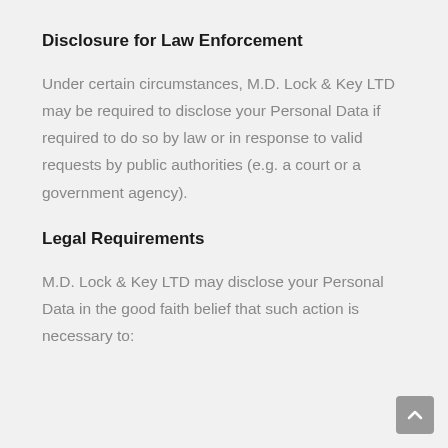Disclosure for Law Enforcement
Under certain circumstances, M.D. Lock & Key LTD may be required to disclose your Personal Data if required to do so by law or in response to valid requests by public authorities (e.g. a court or a government agency).
Legal Requirements
M.D. Lock & Key LTD may disclose your Personal Data in the good faith belief that such action is necessary to: